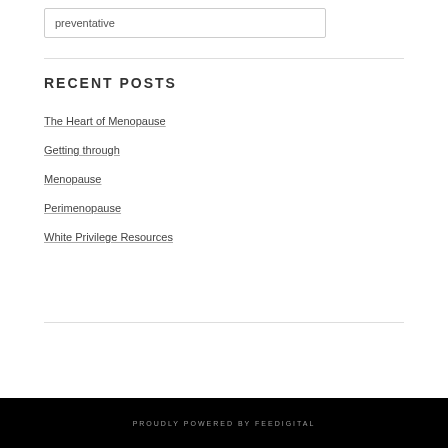preventative
RECENT POSTS
The Heart of Menopause
Getting through
Menopause
Perimenopause
White Privilege Resources
PROUDLY POWERED BY FEEDIGITAL